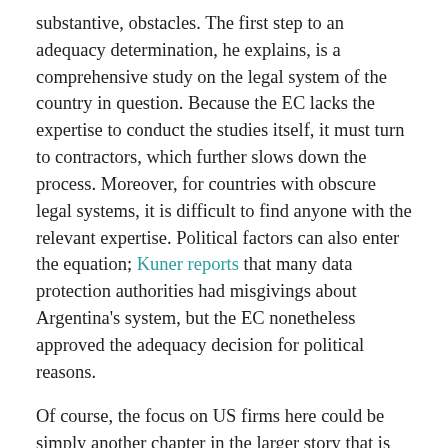substantive, obstacles. The first step to an adequacy determination, he explains, is a comprehensive study on the legal system of the country in question. Because the EC lacks the expertise to conduct the studies itself, it must turn to contractors, which further slows down the process. Moreover, for countries with obscure legal systems, it is difficult to find anyone with the relevant expertise. Political factors can also enter the equation; Kuner reports that many data protection authorities had misgivings about Argentina's system, but the EC nonetheless approved the adequacy decision for political reasons.
Of course, the focus on US firms here could be simply another chapter in the larger story that is the growing rift between Brussels and Silicon Valley. The past several years have seen EU regulators crack down on SV firms on everything from labor practices to speech regulation; the focus on US firms and the exclusion of